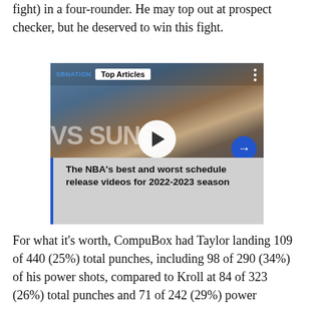fight) in a four-rounder. He may top out at prospect checker, but he deserved to win this fight.
[Figure (screenshot): Video player showing a basketball game (vs Suns) with a white play button overlay, Top Articles badge, and a caption reading 'The NBA's best and worst schedule release videos for 2022-2023 season']
For what it's worth, CompuBox had Taylor landing 109 of 440 (25%) total punches, including 98 of 290 (34%) of his power shots, compared to Kroll at 84 of 323 (26%) total punches and 71 of 242 (29%) power